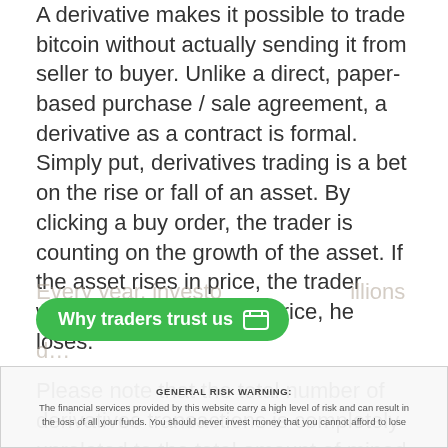A derivative makes it possible to trade bitcoin without actually sending it from seller to buyer. Unlike a direct, paper-based purchase / sale agreement, a derivative as a contract is formal. Simply put, derivatives trading is a bet on the rise or fall of an asset. By clicking a buy order, the trader is counting on the growth of the asset. If the asset rises in price, the trader won, if the asset falls in price, he loses.
Please note that the total number of derivatives transactions is completely unrelated to the total amount of mined bitcoins. For example, if you have 1 BTC in your cold wallet, then you can conclude [Why traders trust us] [on] the growth or fall of its value as many times as the margin collateral is enough under the terms of the site where the trading position is opened.
Every year, investors lose millions of dollars...
GENERAL RISK WARNING: The financial services provided by this website carry a high level of risk and can result in the loss of all your funds. You should never invest money that you cannot afford to lose